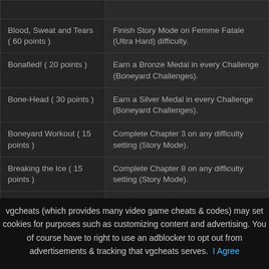| Achievement | Description |
| --- | --- |
| Blood, Sweat and Tears ( 60 points ) | Finish Story Mode on Femme Fatale (Ultra Hard) difficulty. |
| Bonafied! ( 20 points ) | Earn a Bronze Medal in every Challenge (Boneyard Challenges). |
| Bone-Head ( 30 points ) | Earn a Silver Medal in every Challenge (Boneyard Challenges). |
| Boneyard Workout ( 15 points ) | Complete Chapter 3 on any difficulty setting (Story Mode). |
| Breaking the Ice ( 15 points ) | Complete Chapter 8 on any difficulty setting (Story Mode). |
| Business as Usual ( 40 points ) | Finish Story Mode on Hired Gun (Normal) difficulty. |
| Chinatown Rundown ( 15 points ) | Complete Chapter 1 on any difficulty setting (Story Mode). |
| Crossbow Blitz! ( 25 points ) | Kill a total of 200 Enemies using Rubi's... |
vgcheats (which provides many video game cheats & codes) may set cookies for purposes such as customizing content and advertising. You of course have to right to use an adblocker to opt out from advertisements & tracking that vgcheats serves. I Agree